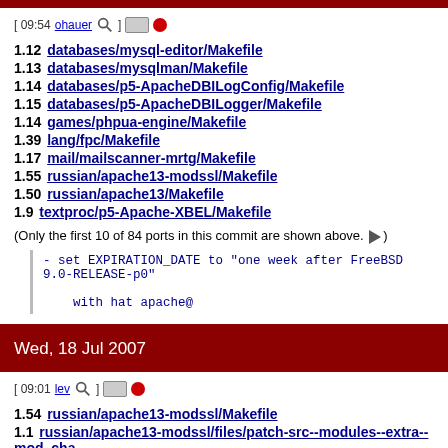[ 09:54 ohauer ] (icons)
1.12 databases/mysql-editor/Makefile
1.13 databases/mysqlman/Makefile
1.14 databases/p5-ApacheDBILogConfig/Makefile
1.15 databases/p5-ApacheDBILogger/Makefile
1.14 games/phpua-engine/Makefile
1.39 lang/fpc/Makefile
1.17 mail/mailscanner-mrtg/Makefile
1.55 russian/apache13-modssl/Makefile
1.50 russian/apache13/Makefile
1.9 textproc/p5-Apache-XBEL/Makefile
(Only the first 10 of 84 ports in this commit are shown above. ▶)
- set EXPIRATION_DATE to "one week after FreeBSD 9.0-RELEASE-p0"

with hat apache@
Wed, 18 Jul 2007
[ 09:01 lev ] (icons)
1.54 russian/apache13-modssl/Makefile
1.1 russian/apache13-modssl/files/patch-src--modules--extra--mod_cha